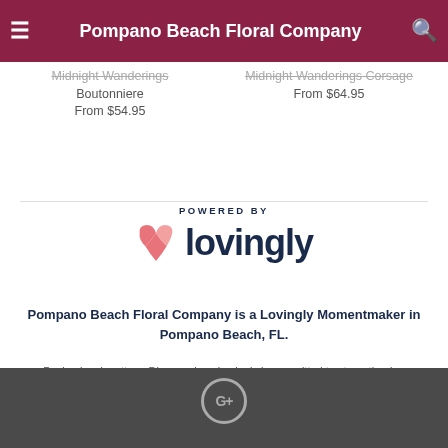Pompano Beach Floral Company
Midnight Wanderings Boutonniere
From $54.95
Midnight Wanderings Corsage
From $64.95
[Figure (logo): Lovingly logo with pink heart icon and dark navy text 'lovingly', with 'POWERED BY' above]
Pompano Beach Floral Company is a Lovingly Momentmaker in Pompano Beach, FL.
Buying local matters. Discover how Lovingly is committed to strengthening relationships by helping local florists market, sell, and deliver their floral designs online.
Footer with Google+ icon